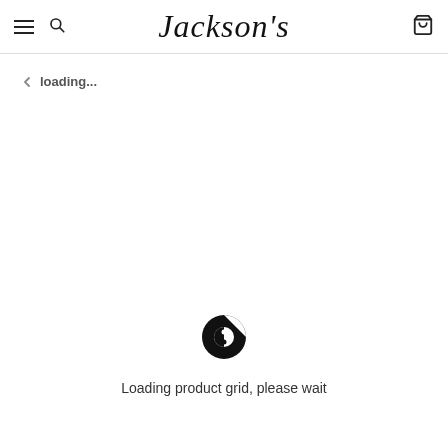Jackson's
loading...
[Figure (other): Loading spinner circle graphic]
Loading product grid, please wait